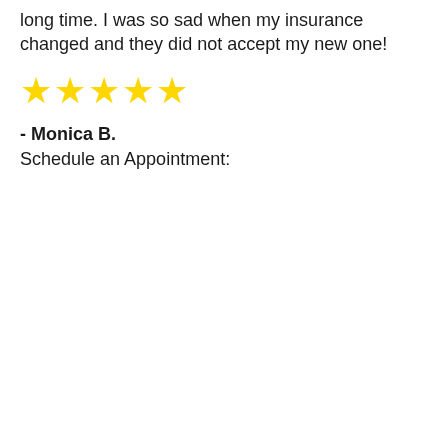long time. I was so sad when my insurance changed and they did not accept my new one!
[Figure (other): Five yellow star rating icons]
- Monica B.
Schedule an Appointment: